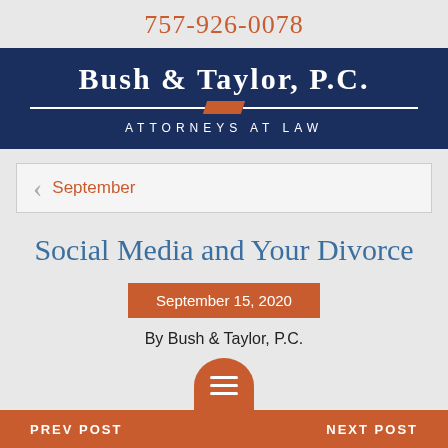757-926-0078
[Figure (logo): Bush & Taylor, P.C. Attorneys at Law logo on dark navy background with decorative line and orange accent]
September
Social Media and Your Divorce
September 15, 2020
By Bush & Taylor, P.C.
PREV POST   NEXT POST